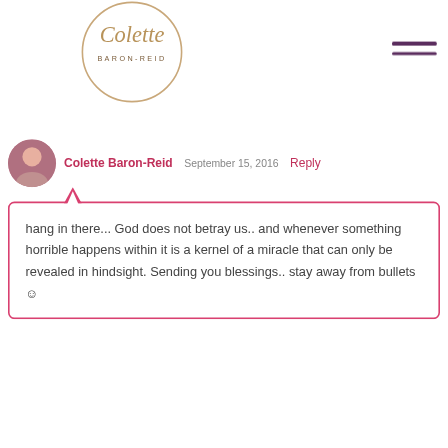[Figure (logo): Colette Baron-Reid logo in circular border with cursive script]
Colette Baron-Reid   September 15, 2016   Reply
hang in there... God does not betray us.. and whenever something horrible happens within it is a kernel of a miracle that can only be revealed in hindsight. Sending you blessings.. stay away from bullets ☺
Feeling Very Different Now
September 18, 2016   Reply
Hello, Colette, and The Tribe Here at CBR. Colette, thank you for your reply and blessings. Most especially, thank you for having the space